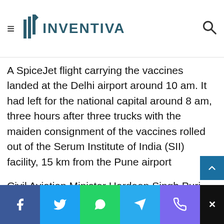days ahead of the launch of a nationwide drive
[Figure (logo): Inventiva logo with hamburger menu on left and search icon on right]
A SpiceJet flight carrying the vaccines landed at the Delhi airport around 10 am. It had left for the national capital around 8 am, three hours after three trucks with the maiden consignment of the vaccines rolled out of the Serum Institute of India (SII) facility, 15 km from the Pune airport
Civil Aviation Minister Hardeep Singh Puri said four airlines will operate nine flights to transport 56.5 lakh doses of COVID-19 vaccine from Pune to 13 cities across the
[Figure (infographic): Social media sharing bar with Facebook, Twitter, WhatsApp, Telegram, Phone buttons and a black X close button]